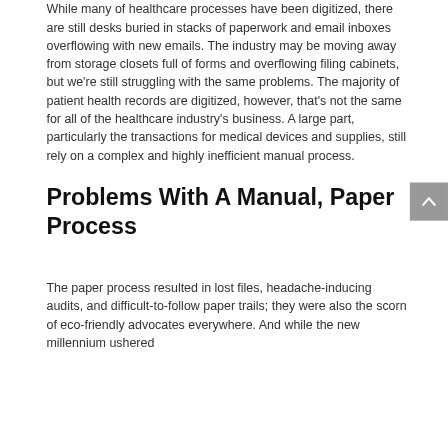While many of healthcare processes have been digitized, there are still desks buried in stacks of paperwork and email inboxes overflowing with new emails. The industry may be moving away from storage closets full of forms and overflowing filing cabinets, but we're still struggling with the same problems. The majority of patient health records are digitized, however, that's not the same for all of the healthcare industry's business. A large part, particularly the transactions for medical devices and supplies, still rely on a complex and highly inefficient manual process.
Problems With A Manual, Paper Process
The paper process resulted in lost files, headache-inducing audits, and difficult-to-follow paper trails; they were also the scorn of eco-friendly advocates everywhere. And while the new millennium ushered